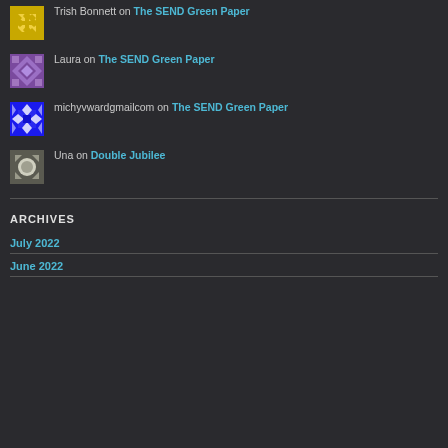Trish Bonnett on The SEND Green Paper
Laura on The SEND Green Paper
michyvwardgmailcom on The SEND Green Paper
Una on Double Jubilee
ARCHIVES
July 2022
June 2022